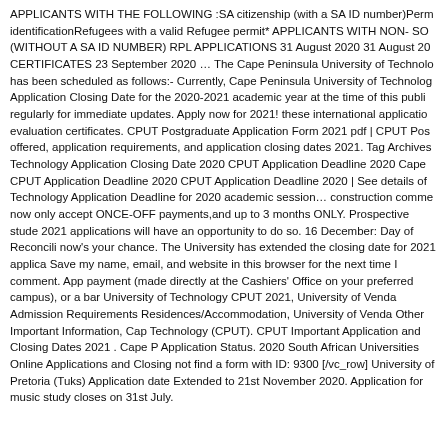APPLICANTS WITH THE FOLLOWING :SA citizenship (with a SA ID number)Permanent residenceRefugees with a valid Refugee permit* APPLICANTS WITH NON- SOUTH AFRICAN (WITHOUT A SA ID NUMBER) RPL APPLICATIONS 31 August 2020 31 August 2020 CERTIFICATES 23 September 2020 … The Cape Peninsula University of Technology has been scheduled as follows:- Currently, Cape Peninsula University of Technology Application Closing Date for the 2020-2021 academic year at the time of this publication regularly for immediate updates. Apply now for 2021! these international applications evaluation certificates. CPUT Postgraduate Application Form 2021 pdf | CPUT Pos offered, application requirements, and application closing dates 2021. Tag Archives: Technology Application Closing Date 2020 CPUT Application Deadline 2020 Cape CPUT Application Deadline 2020 CPUT Application Deadline 2020 | See details of Technology Application Deadline for 2020 academic session… construction comme now only accept ONCE-OFF payments,and up to 3 months ONLY. Prospective stude 2021 applications will have an opportunity to do so. 16 December: Day of Reconcili now's your chance. The University has extended the closing date for 2021 applica Save my name, email, and website in this browser for the next time I comment. App payment (made directly at the Cashiers' Office on your preferred campus), or a ban University of Technology CPUT 2021, University of Venda Admission Requirements Residences/Accommodation, University of Venda Other Important Information, Cape Technology (CPUT). CPUT Important Application and Closing Dates 2021 . Cape P Application Status. 2020 South African Universities Online Applications and Closing not find a form with ID: 9300 [/vc_row] University of Pretoria (Tuks) Application date Extended to 21st November 2020. Application for music study closes on 31st July.